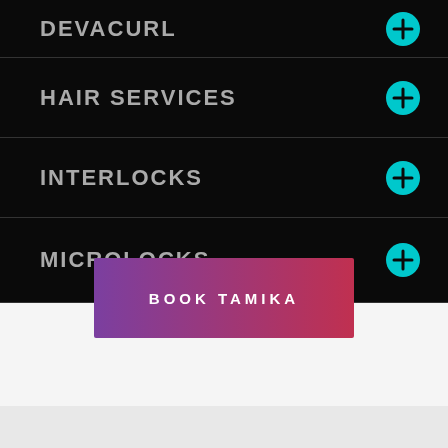DEVACURL
HAIR SERVICES
INTERLOCKS
MICROLOCKS
BOOK TAMIKA